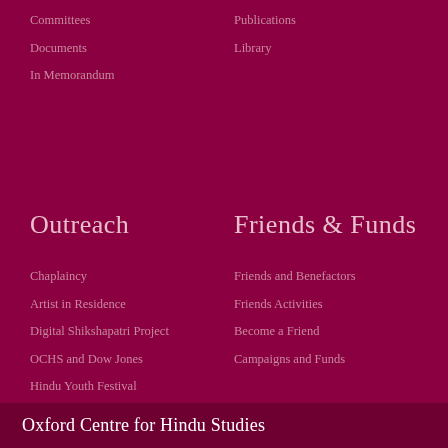Committees
Publications
Documents
Library
In Memorandum
Outreach
Friends & Funds
Chaplaincy
Friends and Benefactors
Artist in Residence
Friends Activities
Digital Shikshapatri Project
Become a Friend
OCHS and Dow Jones
Campaigns and Funds
Hindu Youth Festival
Oxford Centre for Hindu Studies